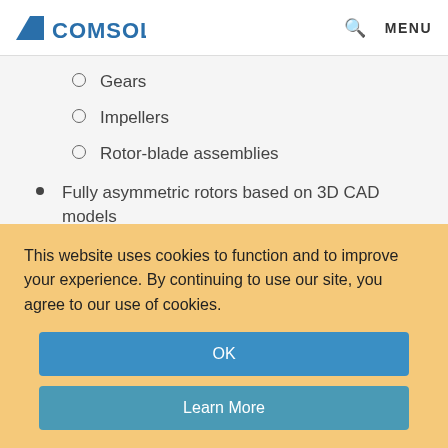COMSOL
Gears
Impellers
Rotor-blade assemblies
Fully asymmetric rotors based on 3D CAD models
Fixed, moving, and flexible foundations
Stationary study
Eigenfrequency study
This website uses cookies to function and to improve your experience. By continuing to use our site, you agree to our use of cookies.
OK
Learn More